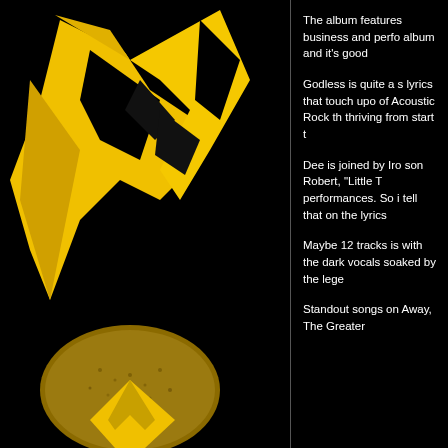[Figure (illustration): Album cover artwork showing a yellow and black graphic design resembling a stylized bird or flame shape against a black background, with a textured golden/yellow element at the bottom center.]
The album features business and perfo album and it's good
Godless is quite a s lyrics that touch upo of Acoustic Rock th thriving from start t
Dee is joined by Iro son Robert, "Little T performances. So i tell that on the lyrics
Maybe 12 tracks is with the dark vocals soaked by the lege
Standout songs on Away, The Greater